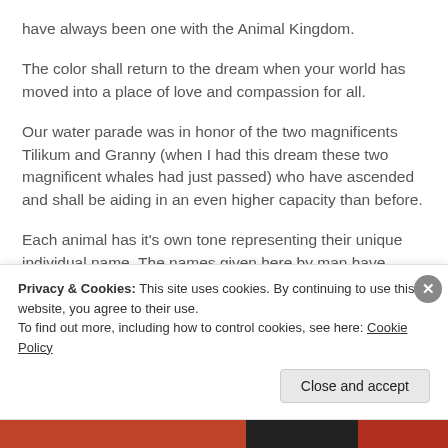have always been one with the Animal Kingdom.
The color shall return to the dream when your world has moved into a place of love and compassion for all.
Our water parade was in honor of the two magnificents Tilikum and Granny (when I had this dream these two magnificent whales had just passed) who have ascended and shall be aiding in an even higher capacity than before.
Each animal has it’s own tone representing their unique individual name. The names given here by man have some
Privacy & Cookies: This site uses cookies. By continuing to use this website, you agree to their use.
To find out more, including how to control cookies, see here: Cookie Policy
Close and accept